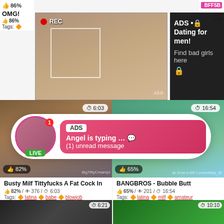[Figure (screenshot): Adult video website screenshot with overlaid advertisements. Top section shows a live-stream thumbnail with REC badge, overlaid with a dark ad box reading 'ADS • Dating for men! Find bad girls here'. Below are two video thumbnails with duration badges (6:03 and 16:54), like percentages (82% and 65%), and a floating chat notification ad: 'ADS - Angel is typing... (1) unread message' with LIVE avatar. Video titles: 'Busty Milf Tittyfucks A Fat Cock In' (82%/376 views/6:03, tags: latina, babe, blowjob) and 'BANGBROS - Bubble Butt' (65%/201 views/16:54, tags: latina, milf, amateur). Bottom shows two more video thumbnails (6:21 and 10:10).]